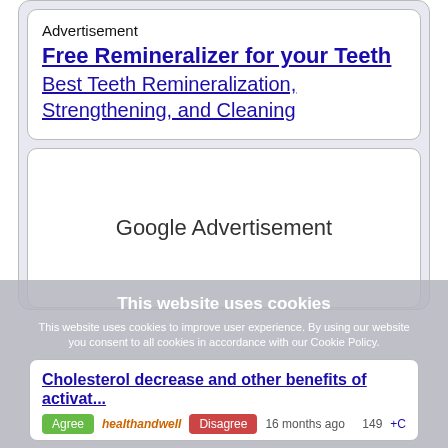[Figure (other): Advertisement box with 'Free Remineralizer for your Teeth' link and 'Best Teeth Remineralization, Strengthening, and Cleaning' sublink]
[Figure (other): Google Advertisement placeholder box]
This website uses cookies
This website uses cookies to improve user experience. By using our website you consent to all cookies in accordance with our Cookie Policy.
Cholesterol decrease and other benefits of activat... healthandwell 16 months ago 149 +C +